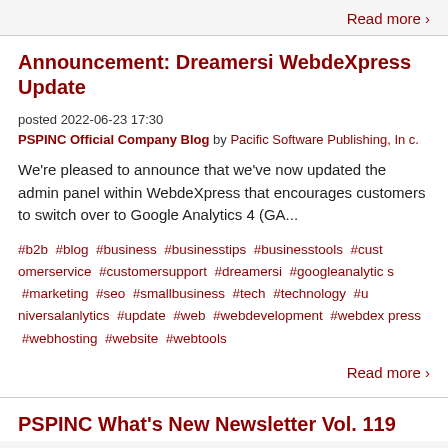Read more >
Announcement: Dreamersi WebdeXpress Update
posted 2022-06-23 17:30
PSPINC Official Company Blog by Pacific Software Publishing, Inc.
We're pleased to announce that we've now updated the admin panel within WebdeXpress that encourages customers to switch over to Google Analytics 4 (GA...
#b2b #blog #business #businesstips #businesstools #customerservice #customersupport #dreamersi #googleanalytics #marketing #seo #smallbusiness #tech #technology #universalanlytics #update #web #webdevelopment #webdexpress #webhosting #website #webtools
Read more >
PSPINC What's New Newsletter Vol. 119